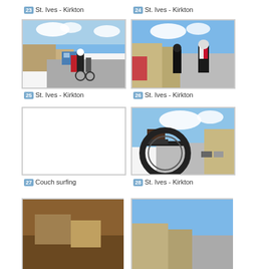23 St. Ives - Kirkton
24 St. Ives - Kirkton
[Figure (photo): Cyclists on a street in St. Ives, view from behind, blue van and stone buildings visible]
[Figure (photo): Two cyclists on a street, one in black, one in red/white kit with helmet, stone buildings behind]
25 St. Ives - Kirkton
26 St. Ives - Kirkton
[Figure (photo): Blank/white photo placeholder]
[Figure (photo): Close-up of bicycle wheel and foot on pedal, street scene in background]
27 Couch surfing
28 St. Ives - Kirkton
[Figure (photo): Partially visible photo at bottom left]
[Figure (photo): Partially visible photo at bottom right]